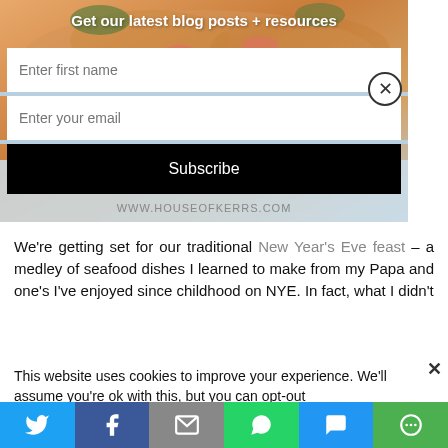[Figure (screenshot): Newsletter signup modal overlay with food photo background showing shrimp pasta dish, title 'Get our latest blog posts + resources', two input fields for first name and email, and a Subscribe button. WWW.HOUSEOFKERRS.COM watermark at bottom.]
We’re getting set for our traditional New Year’s Eve feast – a medley of seafood dishes I learned to make from my Papa and one’s I’ve enjoyed since childhood on NYE. In fact, what I didn’t
This website uses cookies to improve your experience. We’ll assume you’re ok with this, but you can opt-out
[Figure (screenshot): Social share bar with six buttons: Twitter (blue), Facebook (dark blue), Email/envelope (gray), WhatsApp (green), SMS (blue), and More (green).]